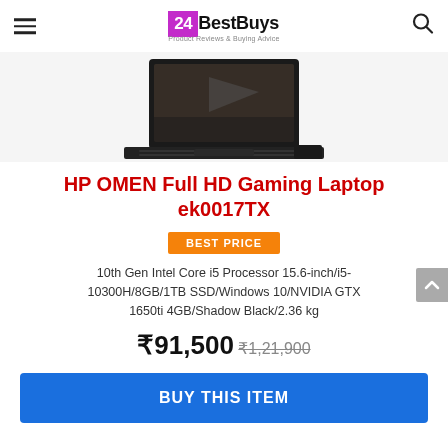24BestBuys — Product Reviews & Buying Advice
[Figure (photo): HP OMEN gaming laptop open, showing keyboard and screen, dark/black color, viewed from slightly above at an angle]
HP OMEN Full HD Gaming Laptop ek0017TX
BEST PRICE
10th Gen Intel Core i5 Processor 15.6-inch/i5-10300H/8GB/1TB SSD/Windows 10/NVIDIA GTX 1650ti 4GB/Shadow Black/2.36 kg
₹91,500 ₹1,21,900
BUY THIS ITEM